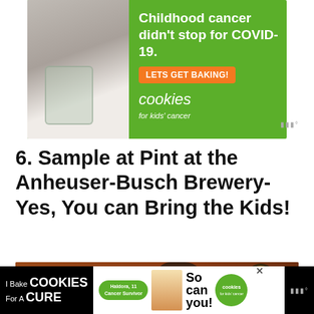[Figure (photo): Advertisement banner for Cookies for Kids' Cancer: child holding jar of money on green background with text 'Childhood cancer didn't stop for COVID-19. LETS GET BAKING! cookies for kids cancer']
6. Sample at Pint at the Anheuser-Busch Brewery- Yes, You can Bring the Kids!
[Figure (photo): Photo of a horse (Clydesdale) in front of brick building with arched stained glass window, likely at Anheuser-Busch Brewery]
[Figure (photo): Banner advertisement for Cookies for Kids' Cancer: 'I Bake COOKIES For A CURE' with photo of girl named Haldora, 11, Cancer Survivor, and 'So can you!' with cookies logo]